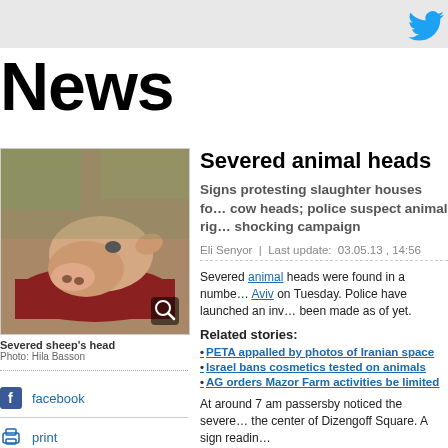News
[Figure (photo): Severed sheep's head resting on a red surface]
Severed sheep's head
Photo: Hila Basson
facebook
print
send to friend
comment
Severed animal heads
Signs protesting slaughter houses for cow heads; police suspect animal rights shocking campaign
Eli Senyor  |  Last update:  03.05.13 , 14:56
Severed animal heads were found in a number of Tel Aviv on Tuesday. Police have launched an investigation but no arrests have been made as of yet.
Related stories:
PETA appalled by photos of Iranian space
Israel bans cosmetics tested on animals
AG orders Mazor Farm activities be limited
At around 7 am passersby noticed the severed heads in the center of Dizengoff Square. A sign reading